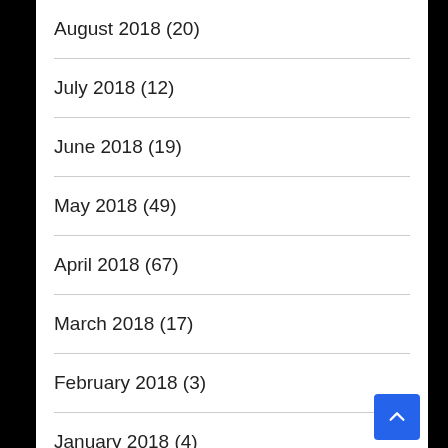August 2018 (20)
July 2018 (12)
June 2018 (19)
May 2018 (49)
April 2018 (67)
March 2018 (17)
February 2018 (3)
January 2018 (4)
December 2017 (1)